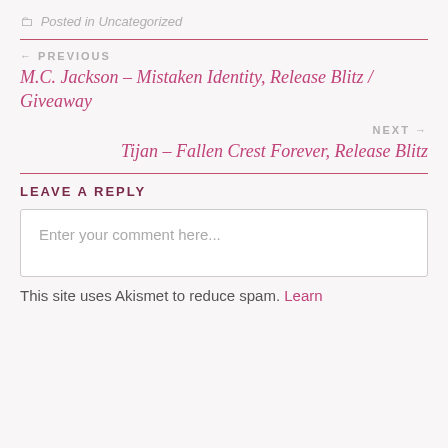📁 Posted in Uncategorized
← PREVIOUS
M.C. Jackson – Mistaken Identity, Release Blitz / Giveaway
NEXT →
Tijan – Fallen Crest Forever, Release Blitz
LEAVE A REPLY
Enter your comment here...
This site uses Akismet to reduce spam. Learn